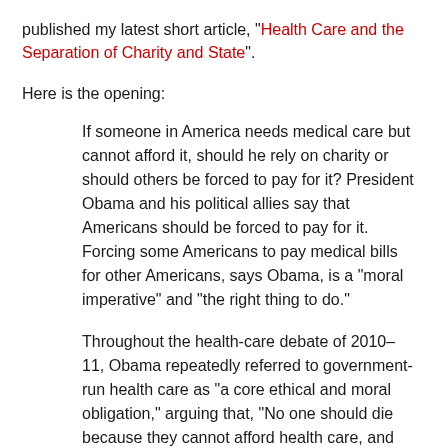published my latest short article, "Health Care and the Separation of Charity and State".
Here is the opening:
If someone in America needs medical care but cannot afford it, should he rely on charity or should others be forced to pay for it? President Obama and his political allies say that Americans should be forced to pay for it. Forcing some Americans to pay medical bills for other Americans, says Obama, is a "moral imperative" and "the right thing to do."
Throughout the health-care debate of 2010–11, Obama repeatedly referred to government-run health care as "a core ethical and moral obligation," arguing that, "No one should die because they cannot afford health care, and no one should go broke because they get sick." In speeches, he repeatedly cited the story of Natoma Canfield, an Ohio cancer patient without